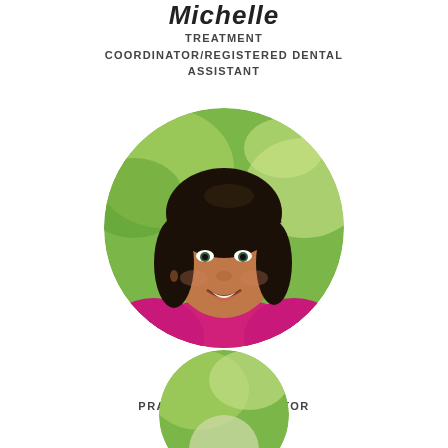Michelle
TREATMENT COORDINATOR/REGISTERED DENTAL ASSISTANT
[Figure (photo): Circular profile photo of Robin, a woman with dark shoulder-length hair wearing a bright pink/magenta top, smiling, with green outdoor background]
Robin
PRACTICE COORDINATOR
[Figure (photo): Partial circular profile photo of a person cropped at the bottom of the page, with green outdoor background]